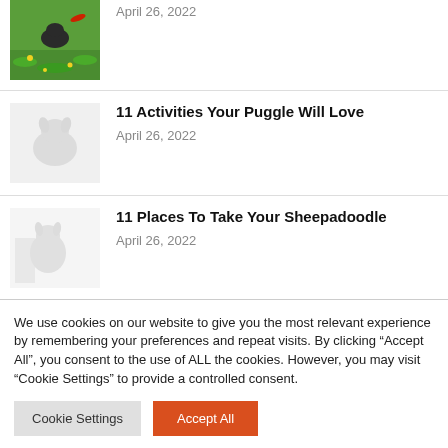[Figure (photo): Dog catching a frisbee on green grass with yellow flowers]
April 26, 2022
[Figure (photo): Puggle dog, light colored, faded photo]
11 Activities Your Puggle Will Love
April 26, 2022
[Figure (photo): Sheepadoodle dog, faded photo indoors]
11 Places To Take Your Sheepadoodle
April 26, 2022
We use cookies on our website to give you the most relevant experience by remembering your preferences and repeat visits. By clicking “Accept All”, you consent to the use of ALL the cookies. However, you may visit “Cookie Settings” to provide a controlled consent.